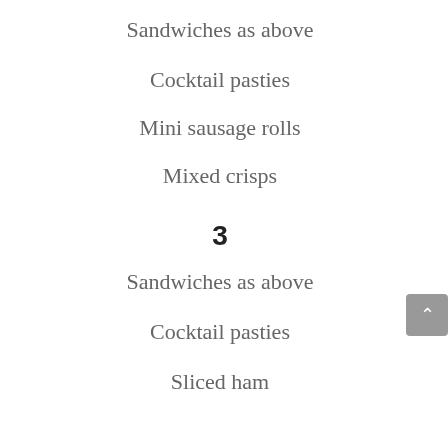Sandwiches as above
Cocktail pasties
Mini sausage rolls
Mixed crisps
3
Sandwiches as above
Cocktail pasties
Sliced ham